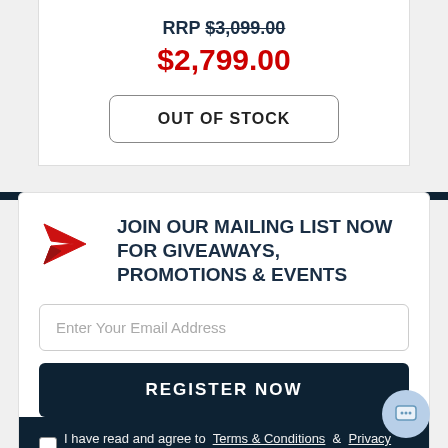RRP $3,099.00
$2,799.00
OUT OF STOCK
JOIN OUR MAILING LIST NOW FOR GIVEAWAYS, PROMOTIONS & EVENTS
Enter Your Email Address
REGISTER NOW
I have read and agree to  Terms & Conditions  &  Privacy Policy.